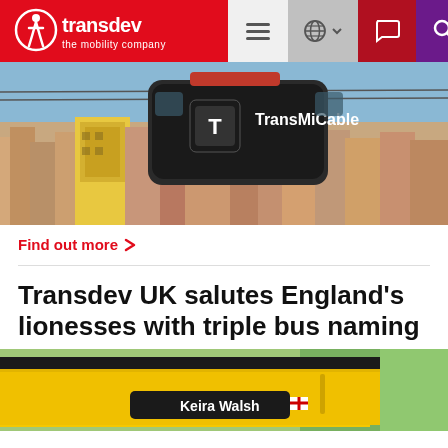transdev - the mobility company
[Figure (photo): Aerial cable car gondola labeled 'TransMiCable' over a dense urban hillside neighborhood]
Find out more >
Transdev UK salutes England’s lionesses with triple bus naming
[Figure (photo): Yellow bus with 'Keira Walsh' name badge and England flag]